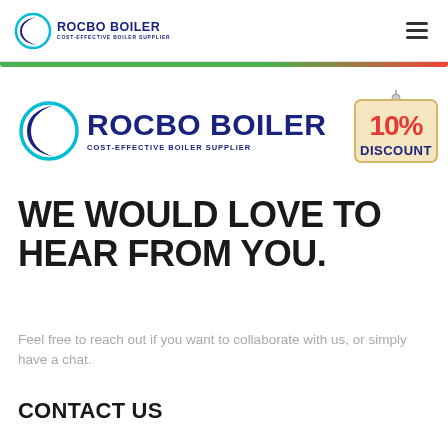ROCBO BOILER COST-EFFECTIVE BOILER SUPPLIER
[Figure (logo): Rocbo Boiler logo with crescent icon and text, large size]
[Figure (illustration): 10% DISCOUNT badge/sign hanging graphic]
WE WOULD LOVE TO HEAR FROM YOU.
Feel free to reach out if you want to collaborate with us, or simply have a chat.
CONTACT US